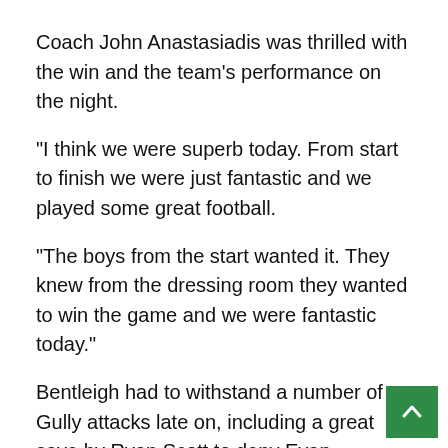Coach John Anastasiadis was thrilled with the win and the team's performance on the night.
"I think we were superb today. From start to finish we were just fantastic and we played some great football.
"The boys from the start wanted it. They knew from the dressing room they wanted to win the game and we were fantastic today."
Bentleigh had to withstand a number of Gully attacks late on, including a great save by Ryan Scott to deny Evan Christodoulou from equalising.
The Greens did hold on and celebrations erupted after the referee blew the final whistle, crowning Bentleigh Greens 2016 Dockerty Cup champions.
The victory sees Bentleigh Greens pick up their se